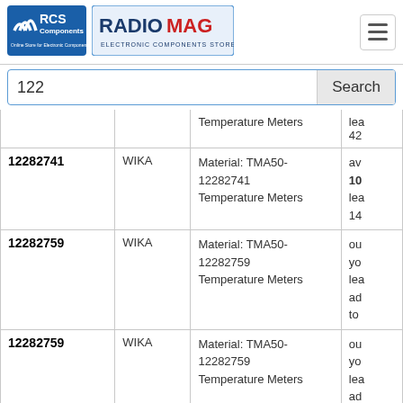[Figure (logo): RCS Components logo - Online Store for Electronic Components]
[Figure (logo): RADIOMAG Electronic Components Store logo]
122
Search
| ID | Brand | Description | Status |
| --- | --- | --- | --- |
|  |  | Temperature Meters | lea
42 |
| 12282741 | WIKA | Material: TMA50-12282741
Temperature Meters | av
10
lea
14 |
| 12282759 | WIKA | Material: TMA50-12282759
Temperature Meters | ou
yo
lea
ad
to |
| 12282759 | WIKA | Material: TMA50-12282759
Temperature Meters | ou
yo
lea
ad
to |
| 12282767 | WIKA | Material: TMA50-12282767
Temperature Meters | ou
yo
lea
ad
to |